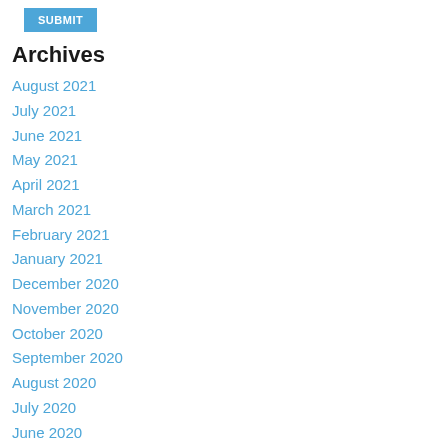SUBMIT
Archives
August 2021
July 2021
June 2021
May 2021
April 2021
March 2021
February 2021
January 2021
December 2020
November 2020
October 2020
September 2020
August 2020
July 2020
June 2020
May 2020
April 2020
March 2020